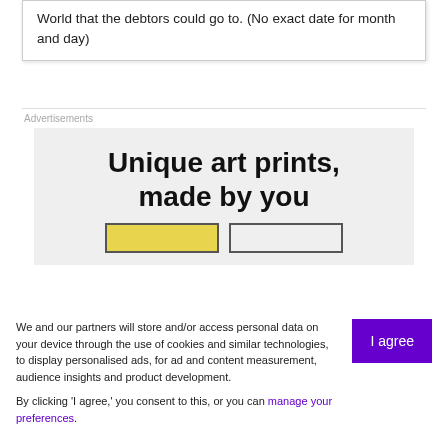World that the debtors could go to. (No exact date for month and day)
Advertisements
[Figure (other): Advertisement banner with bold text 'Unique art prints, made by you' and two button placeholders below]
We and our partners will store and/or access personal data on your device through the use of cookies and similar technologies, to display personalised ads, for ad and content measurement, audience insights and product development.

By clicking 'I agree,' you consent to this, or you can manage your preferences.